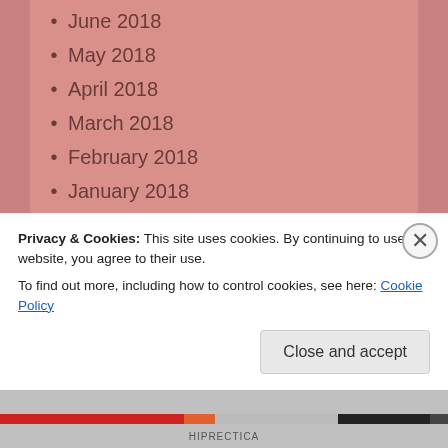June 2018
May 2018
April 2018
March 2018
February 2018
January 2018
December 2017
November 2017
October 2017
September 2017
August 2017
Privacy & Cookies: This site uses cookies. By continuing to use this website, you agree to their use.
To find out more, including how to control cookies, see here: Cookie Policy